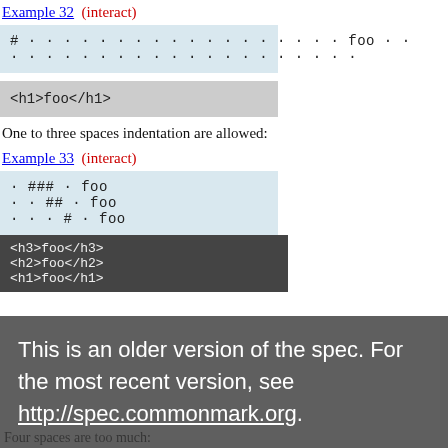Example 32  (interact)
[Figure (screenshot): Code block (light blue background) showing: # · · · · · · · · · · · · · · · · · · foo · ·  / · · · · · · · · · · · · · · · · · · · ·]
[Figure (screenshot): Code block (gray background) showing: <h1>foo</h1>]
One to three spaces indentation are allowed:
Example 33  (interact)
[Figure (screenshot): Code block (light blue background) showing: · ### · foo / · · ## · foo / · · · # · foo]
[Figure (screenshot): Code block (dark gray background) showing: <h3>foo</h3> / <h2>foo</h2> / <h1>foo</h1>]
This is an older version of the spec. For the most recent version, see http://spec.commonmark.org.
Four spaces are too much: